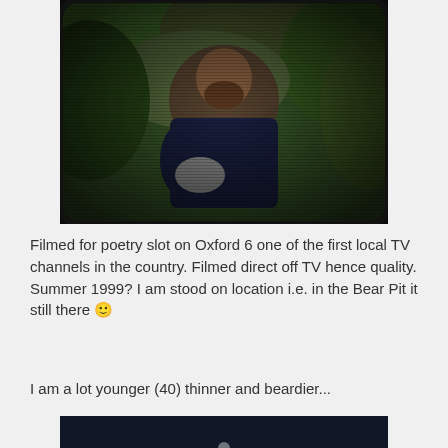[Figure (photo): A grainy, noisy photograph taken directly off an old CRT television screen, showing a bearded man in a dark shirt standing outdoors in front of green trees/bushes, holding some papers. The image has heavy static/grain typical of a photo taken of a TV screen.]
Filmed for poetry slot on Oxford 6 one of the first local TV channels in the country. Filmed direct off TV hence quality. Summer 1999? I am stood on location i.e. in the Bear Pit it still there 🙂
I am a lot younger (40) thinner and beardier...
[Figure (photo): Bottom portion of a dark/navy blue image, partially visible at the bottom of the page.]